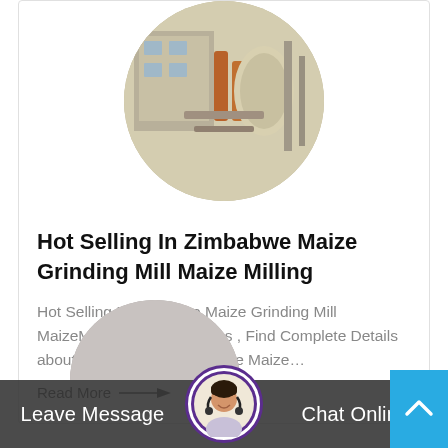[Figure (photo): Circular cropped photo of industrial maize grinding mill machinery]
Hot Selling In Zimbabwe Maize Grinding Mill Maize Milling
Hot Selling InZimbabwe Maize Grinding Mill MaizeMilling Machine Prices , Find Complete Details about Hot Selling InZimbabwe Maize…
Read More →
[Figure (photo): Partial circular image at bottom, partially visible]
Leave Message
[Figure (photo): Customer service avatar with headset, circular, purple border]
Chat Online